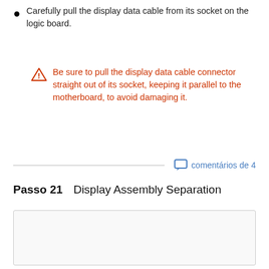Carefully pull the display data cable from its socket on the logic board.
Be sure to pull the display data cable connector straight out of its socket, keeping it parallel to the motherboard, to avoid damaging it.
comentários de 4
Passo 21    Display Assembly Separation
[Figure (photo): Empty image box for Display Assembly Separation step 21]